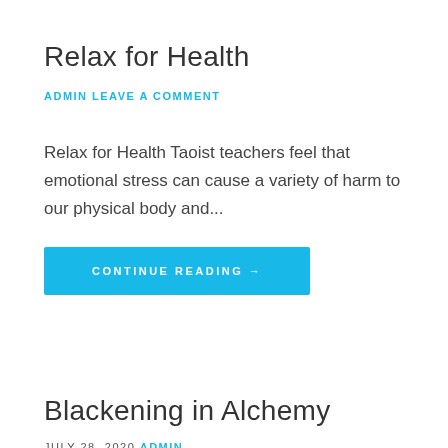Relax for Health
ADMIN
LEAVE A COMMENT
Relax for Health Taoist teachers feel that emotional stress can cause a variety of harm to our physical body and...
CONTINUE READING →
Blackening in Alchemy
JULY 28, 2020
ADMIN